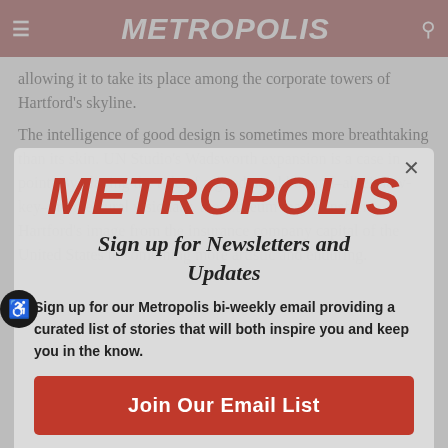METROPOLIS
allowing it to take its place among the corporate towers of Hartford's skyline.
The intelligence of good design is sometimes more breathtaking than its skin. UN Studio's Wadsworth expansion is a case in point. By playing the role of a good neighbor and–albeit low-key–architectural visionary, the museum may transform Hartford's image from the insurance company capital of the United States to something more artistic and enduring.
[Figure (logo): METROPOLIS magazine logo in red italic bold text]
Sign up for Newsletters and Updates
Sign up for our Metropolis bi-weekly email providing a curated list of stories that will both inspire you and keep you in the know.
Join Our Email List